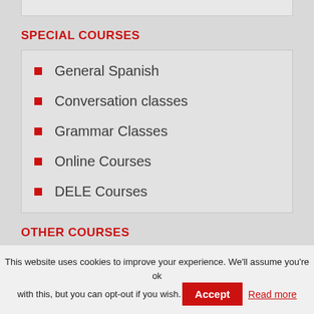SPECIAL COURSES
General Spanish
Conversation classes
Grammar Classes
Online Courses
DELE Courses
OTHER COURSES
This website uses cookies to improve your experience. We'll assume you're ok with this, but you can opt-out if you wish. Accept Read more